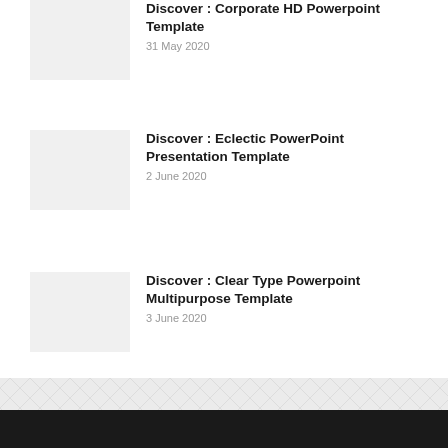Discover : Corporate HD Powerpoint Template
31 May 2020
Discover : Eclectic PowerPoint Presentation Template
2 June 2020
Discover : Clear Type Powerpoint Multipurpose Template
3 June 2020
- Partners -